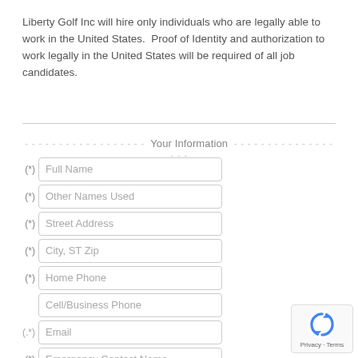Liberty Golf Inc will hire only individuals who are legally able to work in the United States.  Proof of Identity and authorization to work legally in the United States will be required of all job candidates.
Your Information
(*) Full Name
(*) Other Names Used
(*) Street Address
(*) City, ST Zip
(*) Home Phone
Cell/Business Phone
(*) Email
(*) Emergency Contact Name